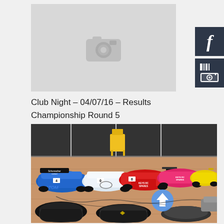[Figure (photo): Placeholder image with camera icon on grey background]
[Figure (logo): Facebook logo icon - white f on dark background]
[Figure (logo): Instagram logo icon on dark background]
Club Night – 04/07/16 – Results Championship Round 5
[Figure (photo): RC cars lined up on a wooden floor in front of a race track. Blue, white, red, pink/red, yellow, and grey RC cars with controllers in foreground. A yellow trolley/stand is visible on the track in the background. Cars include branded Schumacher, ATOM, Keys RC Spares vehicles.]